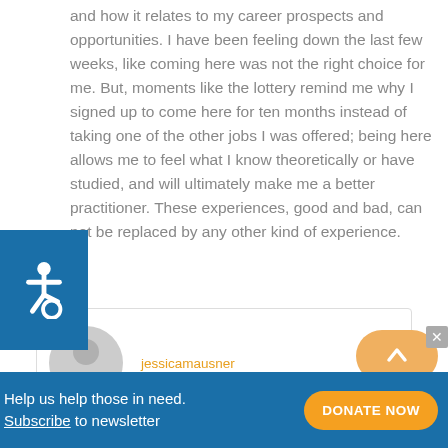and how it relates to my career prospects and opportunities.  I have been feeling down the last few weeks, like coming here was not the right choice for me.  But, moments like the lottery remind me why I signed up to come here for ten months instead of taking one of the other jobs I was offered; being here allows me to feel what I know theoretically or have studied, and will ultimately make me a better practitioner.  These experiences, good and bad, can not be replaced by any other kind of experience.
[Figure (illustration): Blue square with white wheelchair accessibility icon]
[Figure (illustration): Author profile box with grey avatar silhouette and orange username 'jessicamausner', with an orange rounded scroll-to-top button]
Help us help those in need. Subscribe to newsletter    DONATE NOW